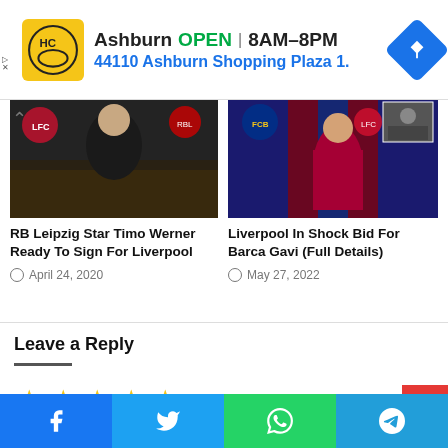[Figure (screenshot): Advertisement banner for Hairclub (HC) in Ashburn. Yellow/black logo on left. Text: Ashburn OPEN 8AM-8PM, 44110 Ashburn Shopping Plaza 1. Navigation icon on right.]
[Figure (photo): RB Leipzig goalkeeper Timo Werner in black kit with Leipzig and Liverpool crests visible]
RB Leipzig Star Timo Werner Ready To Sign For Liverpool
April 24, 2020
[Figure (photo): Barcelona player in red and blue striped kit with Liverpool crest, Barca crest visible]
Liverpool In Shock Bid For Barca Gavi (Full Details)
May 27, 2022
Leave a Reply
[Figure (other): Five gold star rating icons]
[Figure (other): Social share bar with Facebook, Twitter, WhatsApp, and Telegram buttons]